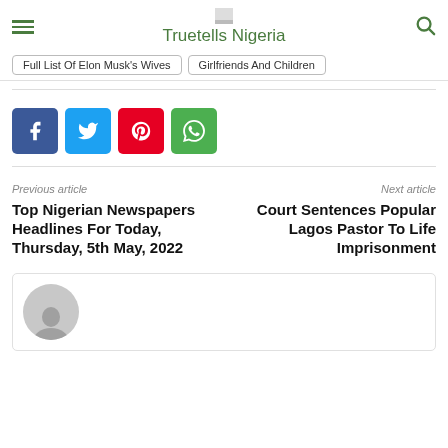Truetells Nigeria
Full List Of Elon Musk's Wives | Girlfriends And Children
[Figure (other): Social share buttons: Facebook (blue), Twitter (light blue), Pinterest (red), WhatsApp (green)]
Previous article
Next article
Top Nigerian Newspapers Headlines For Today, Thursday, 5th May, 2022
Court Sentences Popular Lagos Pastor To Life Imprisonment
[Figure (photo): Author avatar placeholder - grey silhouette]